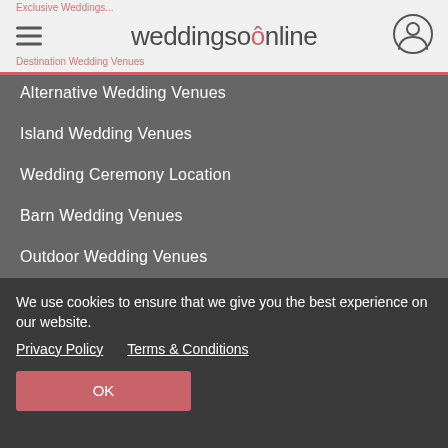weddingsonline
Alternative Wedding Venues
Island Wedding Venues
Wedding Ceremony Location
Barn Wedding Venues
Outdoor Wedding Venues
Small Wedding Venues
Wedding Guest Accommodation
Destination Wedding Venues
Marquee Hire
We use cookies to ensure that we give you the best experience on our website. Privacy Policy  Terms & Conditions